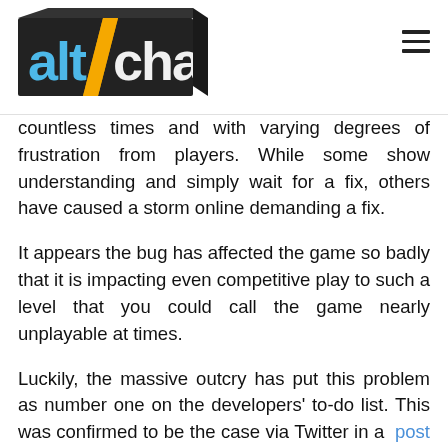AltChar logo and hamburger menu
countless times and with varying degrees of frustration from players. While some show understanding and simply wait for a fix, others have caused a storm online demanding a fix.
It appears the bug has affected the game so badly that it is impacting even competitive play to such a level that you could call the game nearly unplayable at times.
Luckily, the massive outcry has put this problem as number one on the developers' to-do list. This was confirmed to be the case via Twitter in a post by Josh Medina, a producer at Respawn Entertainment working on Apex Legends, where he said “We are working on the No-Reg issue fix”.